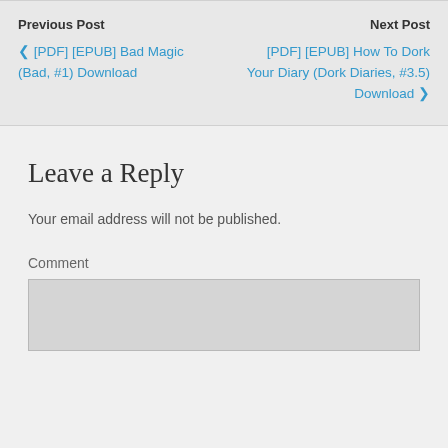Previous Post
❮ [PDF] [EPUB] Bad Magic (Bad, #1) Download
Next Post
[PDF] [EPUB] How To Dork Your Diary (Dork Diaries, #3.5) Download ❯
Leave a Reply
Your email address will not be published.
Comment